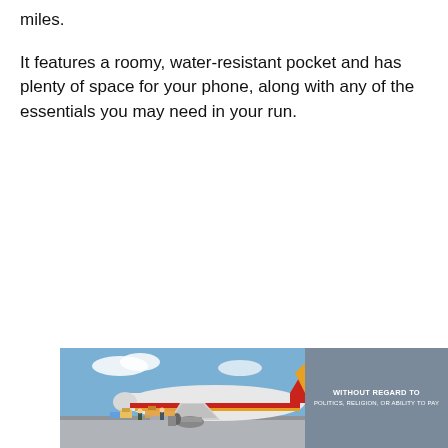miles.
It features a roomy, water-resistant pocket and has plenty of space for your phone, along with any of the essentials you may need in your run.
[Figure (photo): Advertisement banner showing a cargo aircraft being loaded on a tarmac with workers and equipment visible. A gray panel on the right reads 'WITHOUT REGARD TO' with smaller subtitle text below.]